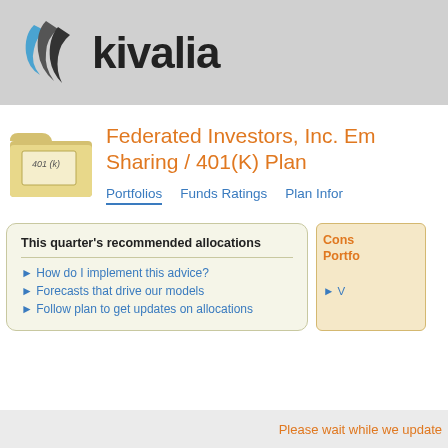[Figure (logo): Kivalia logo with blue/grey swoosh icon and bold 'kivalia' text]
Federated Investors, Inc. Employee Profit Sharing / 401(K) Plan
Portfolios   Funds Ratings   Plan Information
This quarter's recommended allocations
How do I implement this advice?
Forecasts that drive our models
Follow plan to get updates on allocations
Conservative Portfolio
Please wait while we update
Please wait while we update